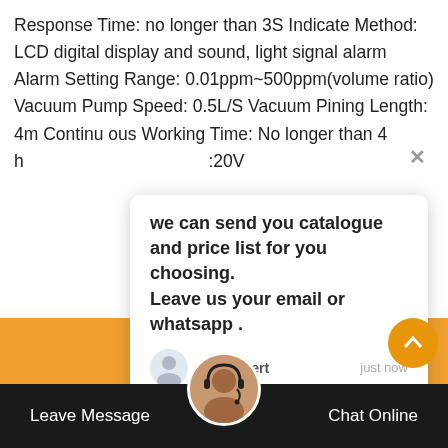Response Time: no longer than 3S Indicate Method: LCD digital display and sound, light signal alarm Alarm Setting Range: 0.01ppm~500ppm(volume ratio) Vacuum Pump Speed: 0.5L/S Vacuum Pining Length: 4m Continuous Working Time: No longer than 4 h ... :20V
[Figure (screenshot): Chat popup overlay with bold text: 'we can send you catalogue and price list for you choosing. Leave us your email or whatsapp.' Sender shown as 'SF6 Expert' with timestamp 'just now'. Below is a reply input box with placeholder 'Write a reply..' and thumbs-up and paperclip icons.]
[Figure (photo): Background photo showing yellow industrial trucks/vehicles parked outdoors near power line infrastructure.]
[Figure (screenshot): Green circular chat icon with a white chat bubble and red badge showing '1' in top-right.]
[Figure (screenshot): Orange circular scroll-up button with white caret/chevron pointing up.]
Leave Message   Chat Online